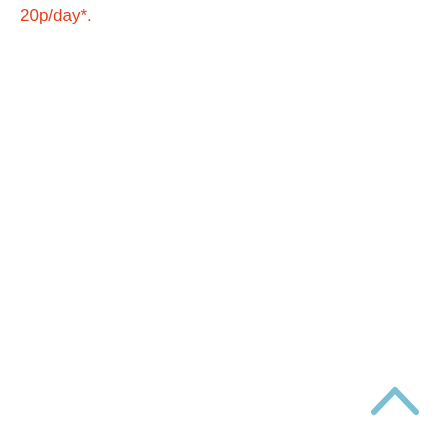20p/day*.
[Figure (other): Back to top chevron arrow icon in light blue]